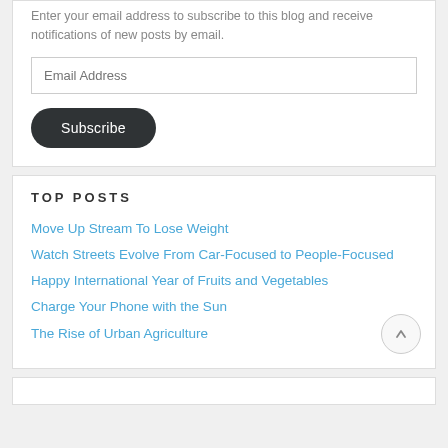Enter your email address to subscribe to this blog and receive notifications of new posts by email.
Email Address
Subscribe
TOP POSTS
Move Up Stream To Lose Weight
Watch Streets Evolve From Car-Focused to People-Focused
Happy International Year of Fruits and Vegetables
Charge Your Phone with the Sun
The Rise of Urban Agriculture